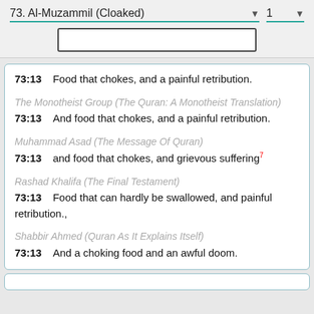73. Al-Muzammil (Cloaked)  ▾   1  ▾
73:13  Food that chokes, and a painful retribution.
The Monotheist Group (The Quran: A Monotheist Translation)
73:13  And food that chokes, and a painful retribution.
Muhammad Asad (The Message Of Quran)
73:13  and food that chokes, and grievous suffering7
Rashad Khalifa (The Final Testament)
73:13  Food that can hardly be swallowed, and painful retribution.,
Shabbir Ahmed (Quran As It Explains Itself)
73:13  And a choking food and an awful doom.